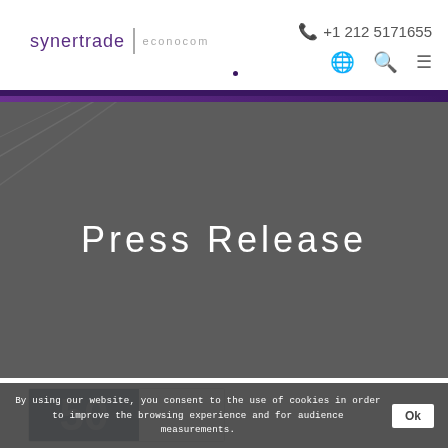synertrade | econocom   +1 212 5171655
Press Release
[Figure (screenshot): Partial thumbnail image showing dark blue background with large numbers '50' visible, part of a press release card.]
By using our website, you consent to the use of cookies in order to improve the browsing experience and for audience measurements.
Ok